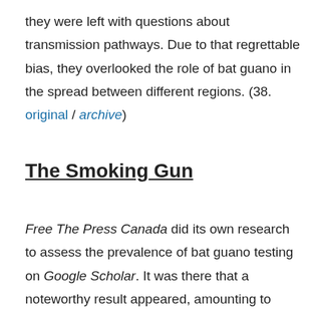they were left with questions about transmission pathways. Due to that regrettable bias, they overlooked the role of bat guano in the spread between different regions. (38. original / archive)
The Smoking Gun
Free The Press Canada did its own research to assess the prevalence of bat guano testing on Google Scholar. It was there that a noteworthy result appeared, amounting to